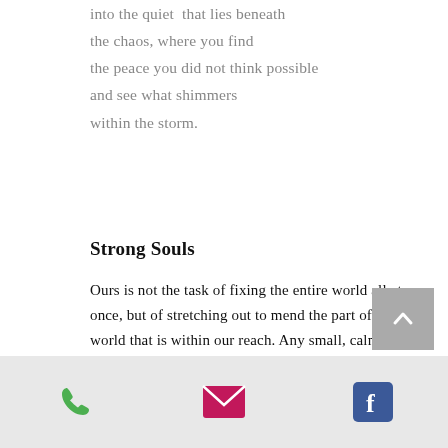into the quiet  that lies beneath
the chaos, where you find
the peace you did not think possible
and see what shimmers
within the storm.
Strong Souls
Ours is not the task of fixing the entire world all at once, but of stretching out to mend the part of the world that is within our reach. Any small, calm thing that one soul can do to help another soul, to assist some portion of this poor suffering world, will help immensely. It is not given to us to know which acts or by whom, will cause the critical mass to tip toward an enduring good.
[Figure (infographic): Footer bar with three icons: green phone icon, pink/red envelope icon, blue Facebook icon]